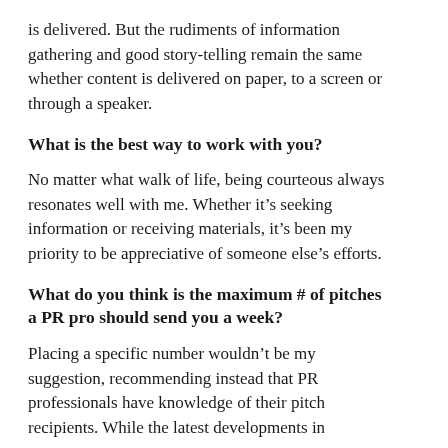is delivered. But the rudiments of information gathering and good story-telling remain the same whether content is delivered on paper, to a screen or through a speaker.
What is the best way to work with you?
No matter what walk of life, being courteous always resonates well with me. Whether it’s seeking information or receiving materials, it’s been my priority to be appreciative of someone else’s efforts.
What do you think is the maximum # of pitches a PR pro should send you a week?
Placing a specific number wouldn’t be my suggestion, recommending instead that PR professionals have knowledge of their pitch recipients. While the latest developments in